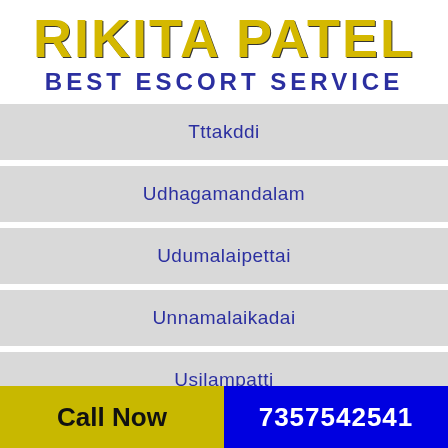RIKITA PATEL
BEST ESCORT SERVICE
Tttakddi
Udhagamandalam
Udumalaipettai
Unnamalaikadai
Usilampatti
Uthamapalayam
Uthiramerur
Call Now  7357542541